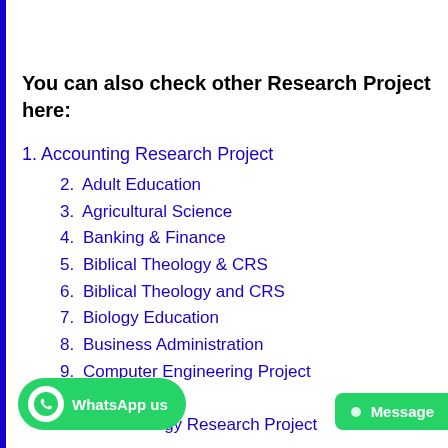You can also check other Research Project here:
1. Accounting Research Project
2. Adult Education
3. Agricultural Science
4. Banking & Finance
5. Biblical Theology & CRS
6. Biblical Theology and CRS
7. Biology Education
8. Business Administration
9. Computer Engineering Project
10. ...ience 2
11. Criminology Research Project